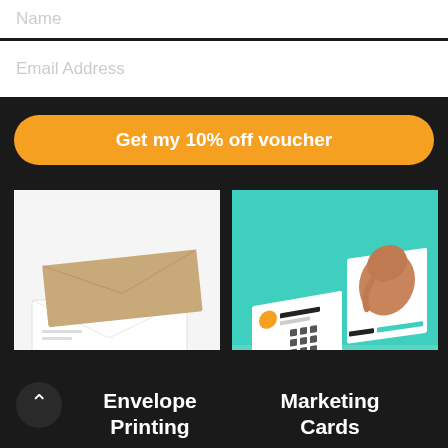Name
Email Address
Get my 10% off voucher
[Figure (photo): Photo of two stacked envelopes on white background — one white, one kraft brown]
[Figure (photo): Photo of marketing cards standing upright on teal background with 'go rogue' branding and elephant imagery]
Envelope Printing
Marketing Cards